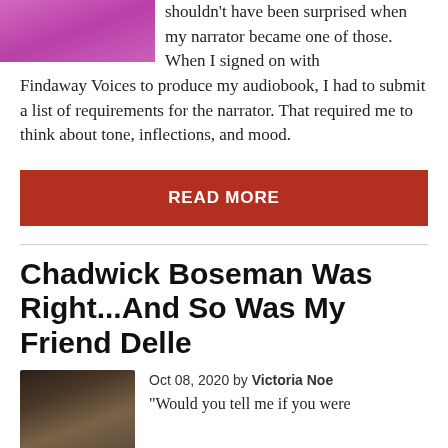[Figure (photo): Partial photo of a woman in a purple/magenta outfit, cropped at top]
shouldn't have been surprised when my narrator became one of those. When I signed on with Findaway Voices to produce my audiobook, I had to submit a list of requirements for the narrator. That required me to think about tone, inflections, and mood.
READ MORE
Chadwick Boseman Was Right...And So Was My Friend Delle
[Figure (photo): Photo of Chadwick Boseman, a man with dark skin and short hair]
Oct 08, 2020 by Victoria Noe
"Would you tell me if you were